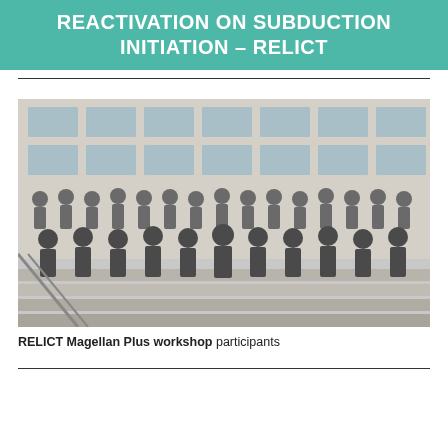REACTIVATION ON SUBDUCTION INITIATION – RELICT
[Figure (photo): Group photo of RELICT Magellan Plus workshop participants standing on outdoor steps in front of a building.]
RELICT Magellan Plus workshop participants